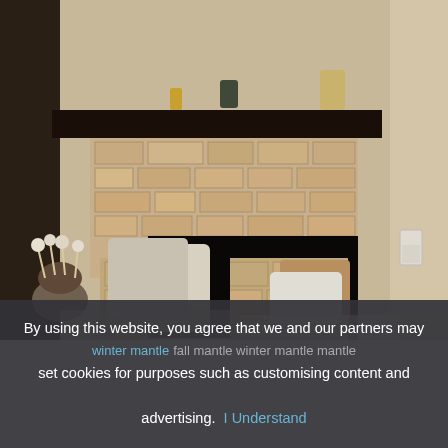[Figure (photo): Interior photo of a stone corner fireplace with a dark wooden mantle shelf decorated with plants and candles. The fireplace has a raised stone hearth with decorative pillows and a wicker basket. A potted dried flower arrangement sits to the left.]
By using this website, you agree that we and our partners may set cookies for purposes such as customising content and advertising. I Understand
winter mantle fall mantle winter mantle mantle